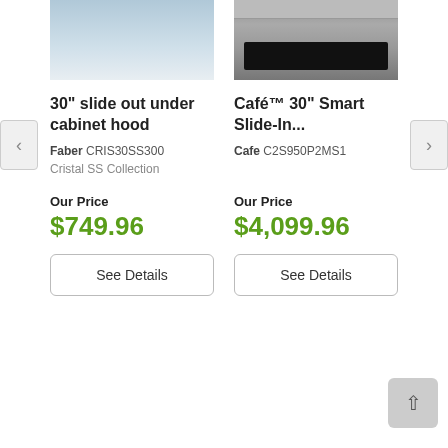[Figure (photo): 30 inch slide out under cabinet range hood, stainless steel, lit from below]
[Figure (photo): Cafe 30 inch Smart Slide-In oven/range, stainless steel with black glass window]
30" slide out under cabinet hood
Café™ 30" Smart Slide-In...
Faber CRIS30SS300
Cafe C2S950P2MS1
Cristal SS Collection
Our Price
$749.96
Our Price
$4,099.96
See Details
See Details